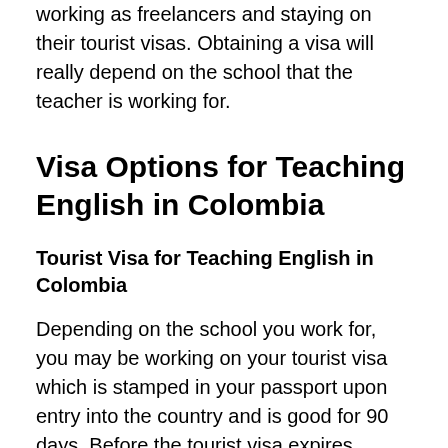working as freelancers and staying on their tourist visas. Obtaining a visa will really depend on the school that the teacher is working for.
Visa Options for Teaching English in Colombia
Tourist Visa for Teaching English in Colombia
Depending on the school you work for, you may be working on your tourist visa which is stamped in your passport upon entry into the country and is good for 90 days. Before the tourist visa expires, travelers can request another extension of 90 days at the Colombian Immigration Authority. After this, you will need to leave the country, visit a neighboring country, and return to Colombia to get a